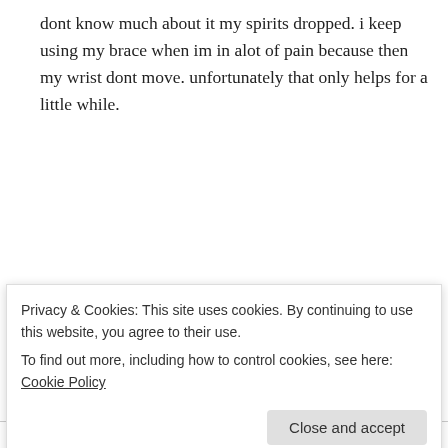dont know much about it my spirits dropped. i keep using my brace when im in alot of pain because then my wrist dont move. unfortunately that only helps for a little while.
Like
👍 0 👎 0 ℹ Rate This
↳ Reply
nicki toulouse on November 16, 2011 at 12:46 am
Privacy & Cookies: This site uses cookies. By continuing to use this website, you agree to their use.
To find out more, including how to control cookies, see here: Cookie Policy
Close and accept
and was diagnosed with RSD in august. I have